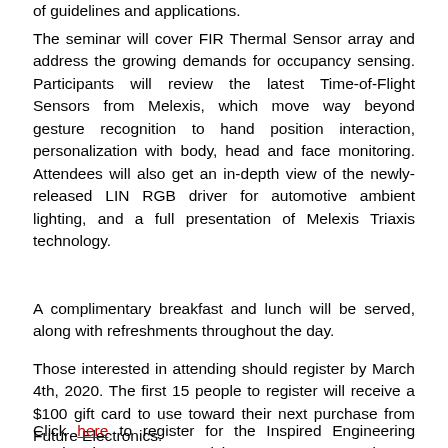of guidelines and applications.
The seminar will cover FIR Thermal Sensor array and address the growing demands for occupancy sensing. Participants will review the latest Time-of-Flight Sensors from Melexis, which move way beyond gesture recognition to hand position interaction, personalization with body, head and face monitoring. Attendees will also get an in-depth view of the newly-released LIN RGB driver for automotive ambient lighting, and a full presentation of Melexis Triaxis technology.
A complimentary breakfast and lunch will be served, along with refreshments throughout the day.
Those interested in attending should register by March 4th, 2020. The first 15 people to register will receive a $100 gift card to use toward their next purchase from Future Electronics.
Click here to register for the Inspired Engineering seminar in San Jose. Participants are encouraged to